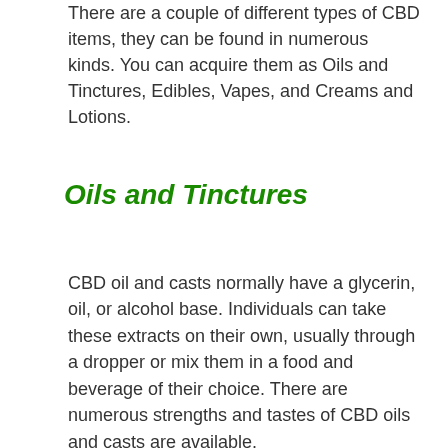There are a couple of different types of CBD items, they can be found in numerous kinds. You can acquire them as Oils and Tinctures, Edibles, Vapes, and Creams and Lotions.
Oils and Tinctures
CBD oil and casts normally have a glycerin, oil, or alcohol base. Individuals can take these extracts on their own, usually through a dropper or mix them in a food and beverage of their choice. There are numerous strengths and tastes of CBD oils and casts are available.